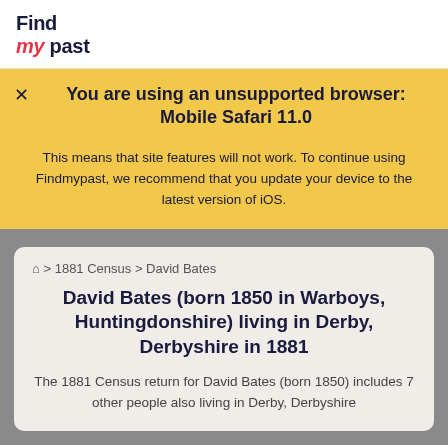Find my past
You are using an unsupported browser: Mobile Safari 11.0
This means that site features will not work. To continue using Findmypast, we recommend that you update your device to the latest version of iOS.
⌂ > 1881 Census > David Bates
David Bates (born 1850 in Warboys, Huntingdonshire) living in Derby, Derbyshire in 1881
The 1881 Census return for David Bates (born 1850) includes 7 other people also living in Derby, Derbyshire